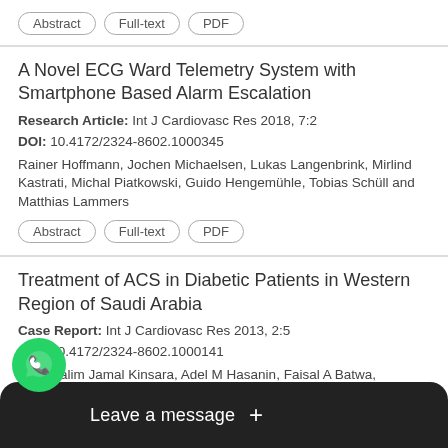Buttons: Abstract, Full-text, PDF
A Novel ECG Ward Telemetry System with Smartphone Based Alarm Escalation
Research Article: Int J Cardiovasc Res 2018, 7:2
DOI: 10.4172/2324-8602.1000345
Rainer Hoffmann, Jochen Michaelsen, Lukas Langenbrink, Mirlind Kastrati, Michal Piatkowski, Guido Hengemühle, Tobias Schüll and Matthias Lammers
Buttons: Abstract, Full-text, PDF
Treatment of ACS in Diabetic Patients in Western Region of Saudi Arabia
Case Report: Int J Cardiovasc Res 2013, 2:5
DOI: 10.4172/2324-8602.1000141
Abdulhalim Jamal Kinsara, Adel M Hasanin, Faisal A Batwa, n J Moeminkhan and Jamal A Kensara
Buttons: Abstract (partial), Full-text, PDF
Clin... (clipped)
[Figure (illustration): WhatsApp chat bubble icon (green circle with phone icon) and 'Leave a message +' dark overlay bar at the bottom of the screen]